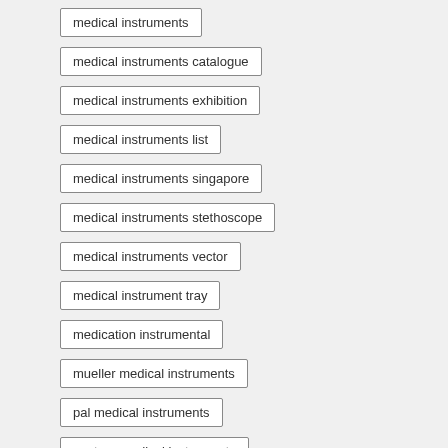medical instruments
medical instruments catalogue
medical instruments exhibition
medical instruments list
medical instruments singapore
medical instruments stethoscope
medical instruments vector
medical instrument tray
medication instrumental
mueller medical instruments
pal medical instruments
pasteur medical instruments
senko medical instrument
voden medical instruments